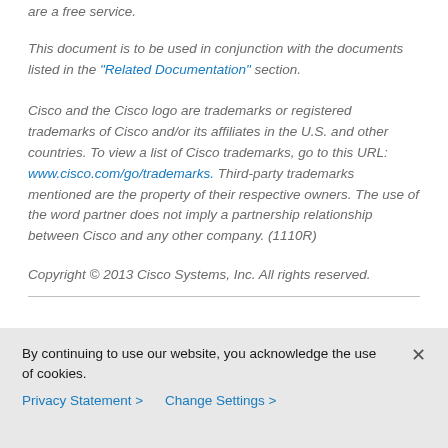are a free service.
This document is to be used in conjunction with the documents listed in the "Related Documentation" section.
Cisco and the Cisco logo are trademarks or registered trademarks of Cisco and/or its affiliates in the U.S. and other countries. To view a list of Cisco trademarks, go to this URL: www.cisco.com/go/trademarks. Third-party trademarks mentioned are the property of their respective owners. The use of the word partner does not imply a partnership relationship between Cisco and any other company. (1110R)
Copyright © 2013 Cisco Systems, Inc. All rights reserved.
By continuing to use our website, you acknowledge the use of cookies.
Privacy Statement > Change Settings >